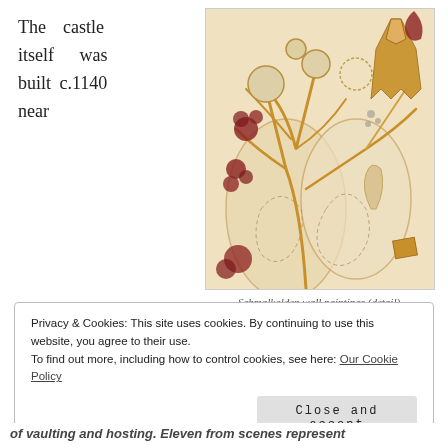The castle itself was built c.1140 near
[Figure (illustration): Medieval wall painting showing stylized trees, plants, and figures with reddish-brown and ochre tones on a light background — Schmalkalden wall paintings (detail)]
Schmalkalden wall paintings (detail)
Privacy & Cookies: This site uses cookies. By continuing to use this website, you agree to their use.
To find out more, including how to control cookies, see here: Our Cookie Policy
Close and accept
of vaulting and hosting. Eleven from scenes represent